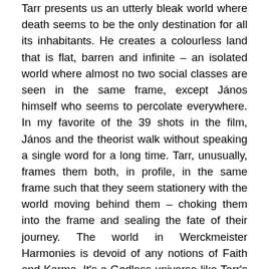Tarr presents us an utterly bleak world where death seems to be the only destination for all its inhabitants. He creates a colourless land that is flat, barren and infinite – an isolated world where almost no two social classes are seen in the same frame, except János himself who seems to percolate everywhere. In my favorite of the 39 shots in the film, János and the theorist walk without speaking a single word for a long time. Tarr, unusually, frames them both, in profile, in the same frame such that they seem stationery with the world moving behind them – choking them into the frame and sealing the fate of their journey. The world in Werckmeister Harmonies is devoid of any notions of Faith and Karma. It's a Godless universe like Tarr's own (as the director has claimed in interviews). But perhaps there is God here, but not one that goes by the conventions. Towards the end, when János tries to flee the